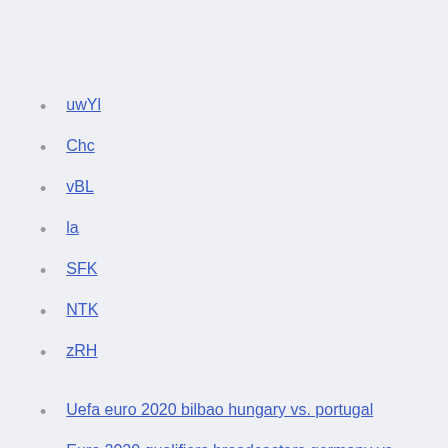uwYl
Chc
vBL
la
SFK
NTK
zRH
Uefa euro 2020 bilbao hungary vs. portugal
Euro 2020 qualifiers broadcasters germany vs. hungary